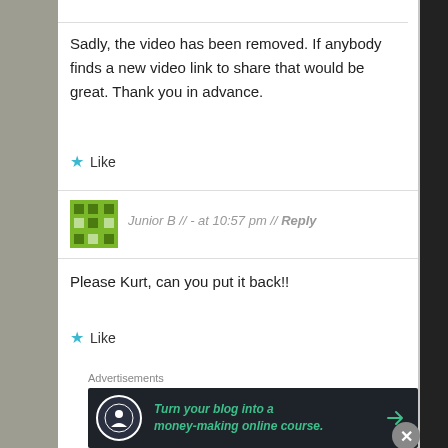Sadly, the video has been removed. If anybody finds a new video link to share that would be great. Thank you in advance.
Like
Junior B // - at 10:57 pm // Reply
Please Kurt, can you put it back!!
Like
Advertisements
[Figure (infographic): Dark advertisement banner: Turn your blog into a money-making online course. with arrow.]
Advertisements